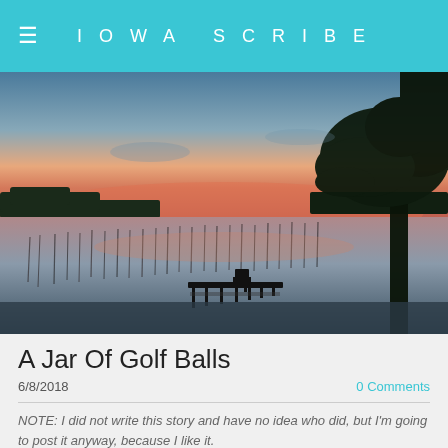IOWA SCRIBE
[Figure (photo): A serene lake at sunset with a small dock and chair in the foreground, reeds in the water, silhouetted trees on the right, and a pink and blue sky reflecting on the calm water.]
A Jar Of Golf Balls
6/8/2018
0 Comments
NOTE: I did not write this story and have no idea who did, but I'm going to post it anyway, because I like it.